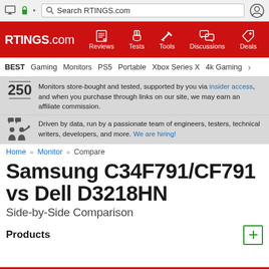RTINGS.com browser navigation bar with search
RTINGS.com - Reviews, Tests, Tools, Discussions, Deals
BEST Gaming Monitors PS5 Portable Xbox Series X 4k Gaming
250 Monitors store-bought and tested, supported by you via insider access, and when you purchase through links on our site, we may earn an affiliate commission.
Driven by data, run by a passionate team of engineers, testers, technical writers, developers, and more. We are hiring!
Home » Monitor » Compare
Samsung C34F791/CF791 vs Dell D3218HN
Side-by-Side Comparison
Products